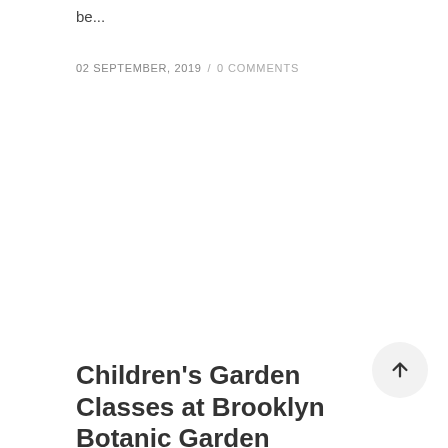be...
02 SEPTEMBER, 2019 / 0 COMMENTS
Children's Garden Classes at Brooklyn Botanic Garden